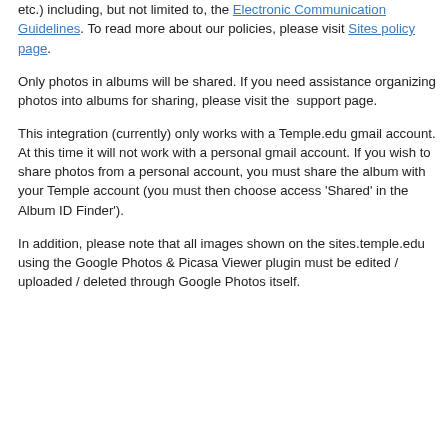All content on sites.temple.edu must adhere to Temple University's Tech Policies (such as no copyright infringement, acceptable use, privacy, etc.) including, but not limited to, the Electronic Communication Guidelines. To read more about our policies, please visit Sites policy page.
Only photos in albums will be shared. If you need assistance organizing photos into albums for sharing, please visit the support page.
This integration (currently) only works with a Temple.edu gmail account. At this time it will not work with a personal gmail account. If you wish to share photos from a personal account, you must share the album with your Temple account (you must then choose access 'Shared' in the Album ID Finder').
In addition, please note that all images shown on the sites.temple.edu using the Google Photos & Picasa Viewer plugin must be edited / uploaded / deleted through Google Photos itself.